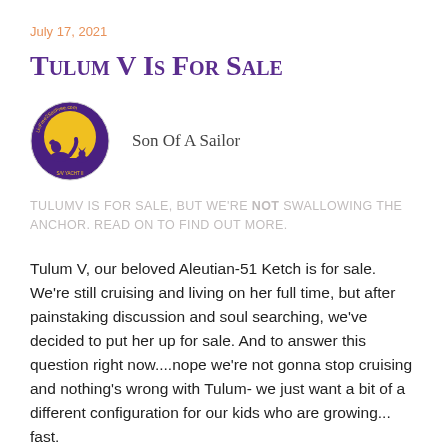July 17, 2021
Tulum V Is For Sale
[Figure (logo): Son Of A Sailor blog logo: circular image with yellow moon, purple wolf silhouette and smaller animal, text around the border.]
Son Of A Sailor
TulumV is for sale, but we're NOT swallowing the anchor. Read on to find out more.
Tulum V, our beloved Aleutian-51 Ketch is for sale. We're still cruising and living on her full time, but after painstaking discussion and soul searching, we've decided to put her up for sale. And to answer this question right now....nope we're not gonna stop cruising and nothing's wrong with Tulum- we just want a bit of a different configuration for our kids who are growing... fast.